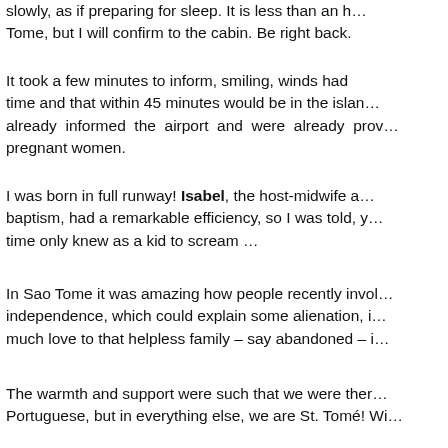slowly, as if preparing for sleep. It is less than an h… Tome, but I will confirm to the cabin. Be right back.
It took a few minutes to inform, smiling, winds had … time and that within 45 minutes would be in the islan… already informed the airport and were already prov… pregnant women.
I was born in full runway! Isabel, the host-midwife a… baptism, had a remarkable efficiency, so I was told, y… time only knew as a kid to scream …
In Sao Tome it was amazing how people recently invol… independence, which could explain some alienation, i… much love to that helpless family – say abandoned – i…
The warmth and support were such that we were ther… Portuguese, but in everything else, we are St. Tomé! Wi…